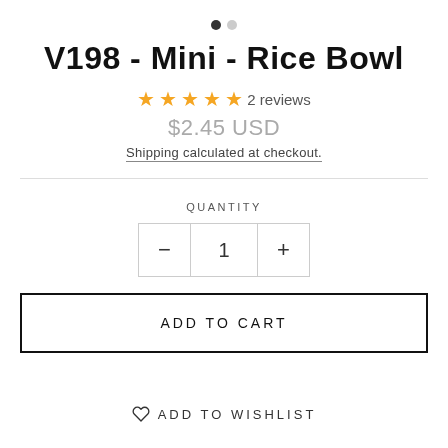[Figure (other): Two navigation dots, one filled (black) and one empty (gray), indicating a carousel with 2 slides]
V198 - Mini - Rice Bowl
★★★★★ 2 reviews
$2.45 USD
Shipping calculated at checkout.
QUANTITY
- 1 +
ADD TO CART
♡ ADD TO WISHLIST